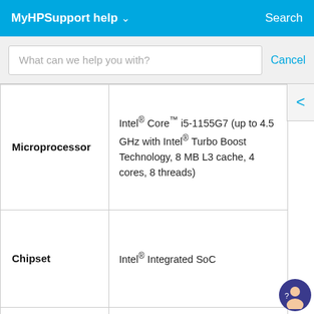MyHPSupport help  Search
What can we help you with?  Cancel
| Feature | Description |
| --- | --- |
| Microprocessor | Intel® Core™ i5-1155G7 (up to 4.5 GHz with Intel® Turbo Boost Technology, 8 MB L3 cache, 4 cores, 8 threads) |
| Chipset | Intel® Integrated SoC |
| Memory, standard | 8 GB DDR4-3200 MHz RAM (2 x 4 GB) |